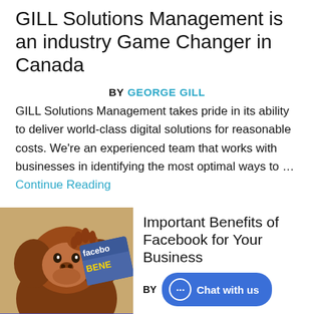GILL Solutions Management is an industry Game Changer in Canada
BY GEORGE GILL
GILL Solutions Management takes pride in its ability to deliver world-class digital solutions for reasonable costs. We're an experienced team that works with businesses in identifying the most optimal ways to … Continue Reading
[Figure (photo): An orangutan with its hand on its head in front of a Facebook Benefits sign, with caption 'are we on Facebook?']
Important Benefits of Facebook for Your Business
BY [Chat with us button]
Whether you are a person